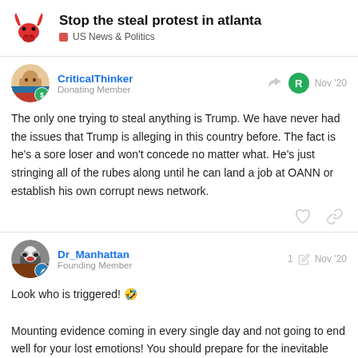Stop the steal protest in atlanta / US News & Politics
CriticalThinker
Donating Member
Nov '20
The only one trying to steal anything is Trump. We have never had the issues that Trump is alleging in this country before. The fact is he's a sore loser and won't concede no matter what. He's just stringing all of the rubes along until he can land a job at OANN or establish his own corrupt news network.
Dr_Manhattan
Founding Member
1 Nov '20
Look who is triggered! 🤣

Mounting evidence coming in every single day and not going to end well for your lost emotions! You should prepare for the inevitable fact that Trump is your President for 4 more years and